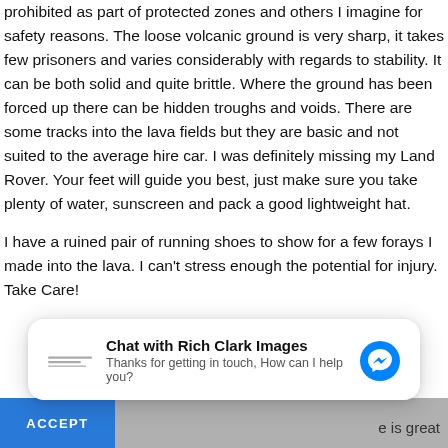prohibited as part of protected zones and others I imagine for safety reasons. The loose volcanic ground is very sharp, it takes few prisoners and varies considerably with regards to stability. It can be both solid and quite brittle. Where the ground has been forced up there can be hidden troughs and voids. There are some tracks into the lava fields but they are basic and not suited to the average hire car. I was definitely missing my Land Rover. Your feet will guide you best, just make sure you take plenty of water, sunscreen and pack a good lightweight hat.
I have a ruined pair of running shoes to show for a few forays I made into the lava. I can't stress enough the potential for injury. Take Care!
[Figure (screenshot): Chat widget overlay from Rich Clark Images showing a Messenger-style chat popup with logo, title 'Chat with Rich Clark Images', subtitle 'Thanks for getting in touch, How can I help you?', and a blue Messenger icon. Below is a partial gray cookie/consent bar with a blue ACCEPT button on the left and text 'e is great' on the right.]